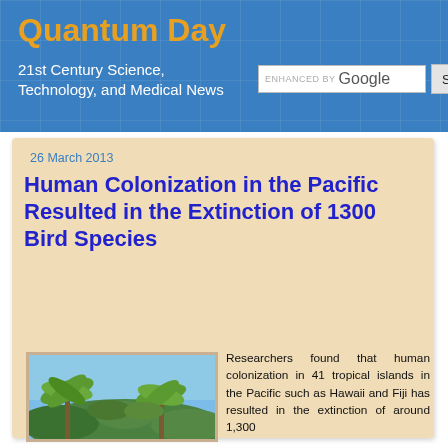Quantum Day
21st Century Science, Technology, and Medical News
26 March 2013
Human Colonization in the Pacific Resulted in the Extinction of 1300 Bird Species
[Figure (photo): Tropical palm trees with green fronds against a blue sky]
Researchers found that human colonization in 41 tropical islands in the Pacific such as Hawaii and Fiji has resulted in the extinction of around 1,300